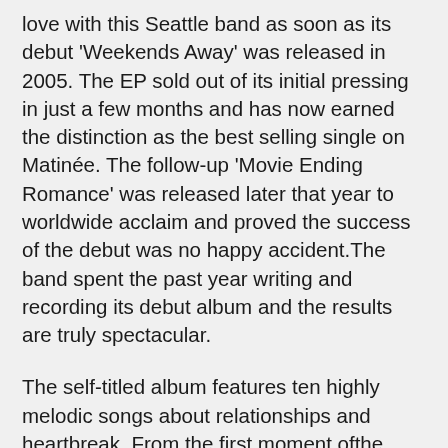love with this Seattle band as soon as its debut 'Weekends Away' was released in 2005. The EP sold out of its initial pressing in just a few months and has now earned the distinction as the best selling single on Matinée. The follow-up 'Movie Ending Romance' was released later that year to worldwide acclaim and proved the success of the debut was no happy accident.The band spent the past year writing and recording its debut album and the results are truly spectacular.
The self-titled album features ten highly melodic songs about relationships and heartbreak. From the first moment ofthe opening track you know you're in for a treat and it doesn't let up until the final note some 30 minutes later.The album kicks off with a new indie classic called 'Darling, Please Come Home.' The lyrics draw you in immediately with images of fireflies and coals burning low, while the jangling guitars, precise drumming, and keyboards keep things moving. What would normally be a difficult one to follow for most